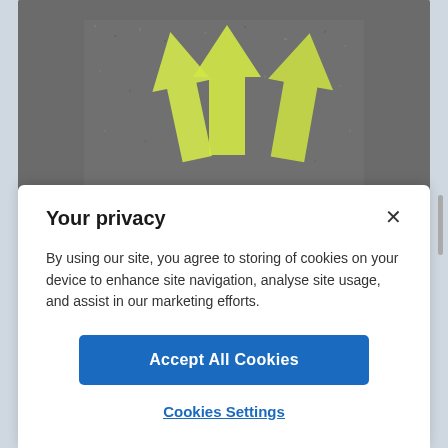[Figure (photo): Asphalt road surface with three yellow painted arrows pointing upward, arranged side by side]
Your privacy
By using our site, you agree to storing of cookies on your device to enhance site navigation, analyse site usage, and assist in our marketing efforts.
Accept All Cookies
Cookies Settings